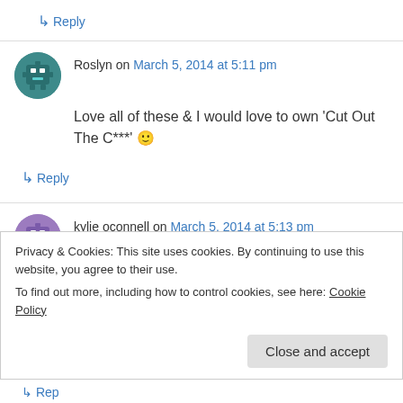↳ Reply
Roslyn on March 5, 2014 at 5:11 pm
Love all of these & I would love to own 'Cut Out The C***' 🙂
↳ Reply
kylie oconnell on March 5, 2014 at 5:13 pm
My friend has just started a Cafe in cahoolture
Privacy & Cookies: This site uses cookies. By continuing to use this website, you agree to their use.
To find out more, including how to control cookies, see here: Cookie Policy
Close and accept
↳ Reply